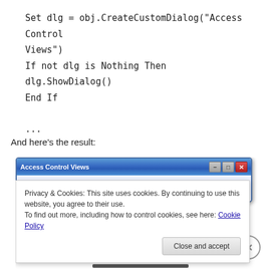Set dlg = obj.CreateCustomDialog(“Access Control Views”)
If not dlg is Nothing Then
dlg.ShowDialog()
End If

...
And here’s the result:
[Figure (screenshot): Screenshot of a Windows dialog box titled 'Access Control Views' with minimize, maximize, and close buttons in the title bar. A cookie consent overlay is shown with text: 'Privacy & Cookies: This site uses cookies. By continuing to use this website, you agree to their use. To find out more, including how to control cookies, see here: Cookie Policy' and a 'Close and accept' button.]